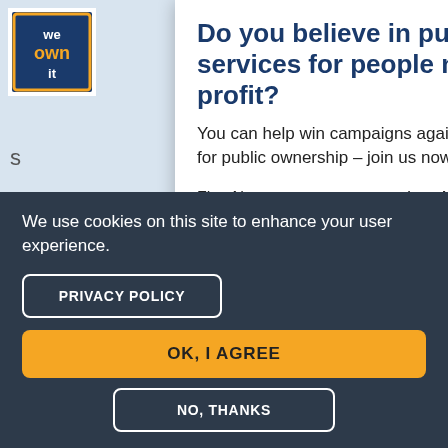[Figure (logo): We Own It logo — white text 'we own it' on dark navy/blue background with orange border square]
Do you believe in public services for people not profit?
You can help win campaigns against privatisation and for public ownership – join us now!
First Name   Last Name
We use cookies on this site to enhance your user experience.
PRIVACY POLICY
OK, I AGREE
NO, THANKS